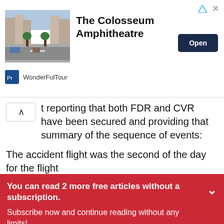[Figure (screenshot): Advertisement banner for The Colosseum Amphitheatre by WonderFulTour. Shows a street photo of a European city boulevard, bold text 'The Colosseum Amphitheatre', a dark blue 'Open' button, and the brand name 'WonderFulTour' with logo.]
t reporting that both FDR and CVR have been secured and providing that summary of the sequence of events:
The accident flight was the second of the day for the flight
You can read 2 more free articles without a subscription.
Subscribe now and continue reading without any limits!
Subscribe now
Are you a subscriber? Login